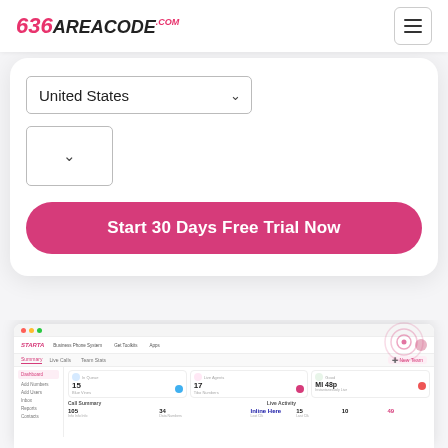636areacode.com
[Figure (screenshot): Website UI showing a form with United States country dropdown, a smaller empty dropdown, and a pink 'Start 30 Days Free Trial Now' button inside a white card. Below is a screenshot of a dashboard app.]
United States
Start 30 Days Free Trial Now